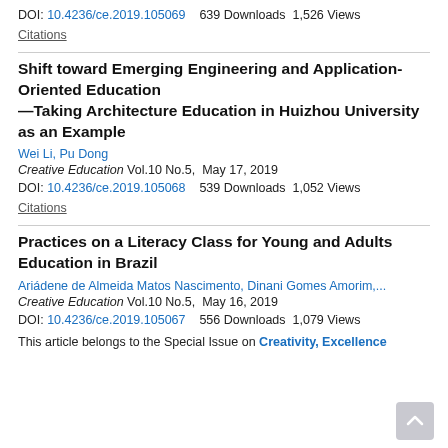DOI: 10.4236/ce.2019.105069    639 Downloads  1,526 Views
Citations
Shift toward Emerging Engineering and Application-Oriented Education—Taking Architecture Education in Huizhou University as an Example
Wei Li, Pu Dong
Creative Education Vol.10 No.5,  May 17, 2019
DOI: 10.4236/ce.2019.105068    539 Downloads  1,052 Views
Citations
Practices on a Literacy Class for Young and Adults Education in Brazil
Ariádene de Almeida Matos Nascimento, Dinani Gomes Amorim,...
Creative Education Vol.10 No.5,  May 16, 2019
DOI: 10.4236/ce.2019.105067    556 Downloads  1,079 Views
This article belongs to the Special Issue on Creativity, Excellence